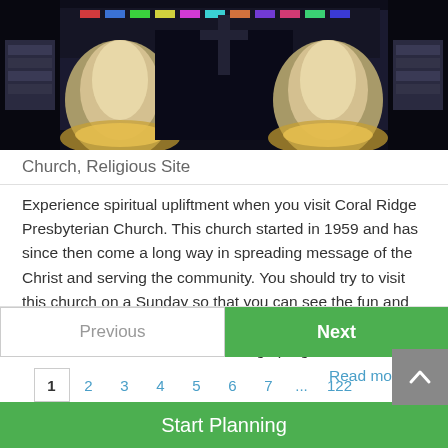[Figure (photo): Nighttime photo of Coral Ridge Presbyterian Church exterior with glowing illuminated angel/white stone sculptures and colorful lights in background]
Church, Religious Site
Experience spiritual upliftment when you visit Coral Ridge Presbyterian Church. This church started in 1959 and has since then come a long way in spreading message of the Christ and serving the community. You should try to visit this church on a Sunday so that you can see the fun and interactive way in which its children ministry organizes activities for kids. In their Little Ridge program, chi... Read more
Previous
Next
1  2  3  4  5  6  7  ...  122
Start Planning